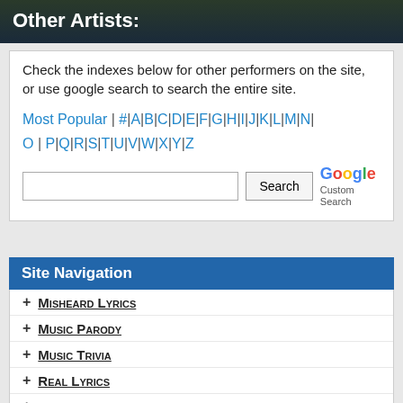Other Artists:
Check the indexes below for other performers on the site, or use google search to search the entire site.
Most Popular | # | A | B | C | D | E | F | G | H | I | J | K | L | M | N | O | P | Q | R | S | T | U | V | W | X | Y | Z
Site Navigation
+ Misheard Lyrics
+ Music Parody
+ Music Trivia
+ Real Lyrics
+ Band Name Wordplay
+ Song Name Wordplay
- Miscellaneous Sections